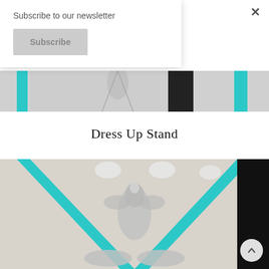[Figure (photo): Partial image strip at top showing a dress up stand with teal/turquoise vertical bars and a silver decorative figurine against a light background]
Dress Up Stand
[Figure (photo): Photo of a dress up stand with teal/turquoise vertical bars forming a V-shape, a silver decorative angel or fairy figurine in the center, silver round trays at the bottom, and white gloves hanging at the top]
Subscribe to our newsletter
Subscribe